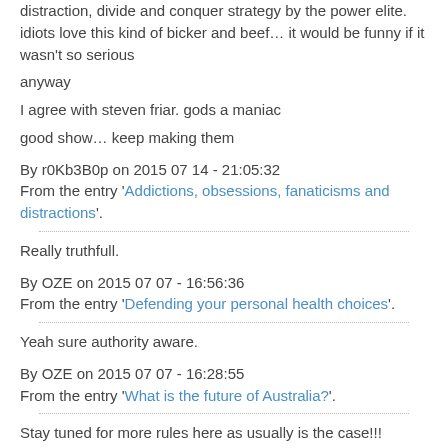distraction, divide and conquer strategy by the power elite. idiots love this kind of bicker and beef… it would be funny if it wasn't so serious
anyway
I agree with steven friar. gods a maniac
good show… keep making them
By r0Kb3B0p on 2015 07 14 - 21:05:32
From the entry 'Addictions, obsessions, fanaticisms and distractions'.
Really truthfull.
By OZE on 2015 07 07 - 16:56:36
From the entry 'Defending your personal health choices'.
Yeah sure authority aware.
By OZE on 2015 07 07 - 16:28:55
From the entry 'What is the future of Australia?'.
Stay tuned for more rules here as usually is the case!!!
By OZE on 2015 07 07 - 16:21:50